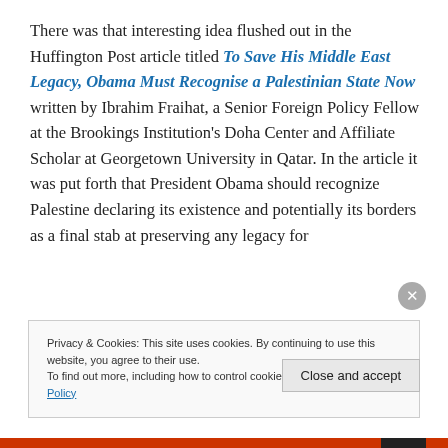There was that interesting idea flushed out in the Huffington Post article titled To Save His Middle East Legacy, Obama Must Recognise a Palestinian State Now written by Ibrahim Fraihat, a Senior Foreign Policy Fellow at the Brookings Institution's Doha Center and Affiliate Scholar at Georgetown University in Qatar. In the article it was put forth that President Obama should recognize Palestine declaring its existence and potentially its borders as a final stab at preserving any legacy for
Privacy & Cookies: This site uses cookies. By continuing to use this website, you agree to their use.
To find out more, including how to control cookies, see here: Cookie Policy
Close and accept